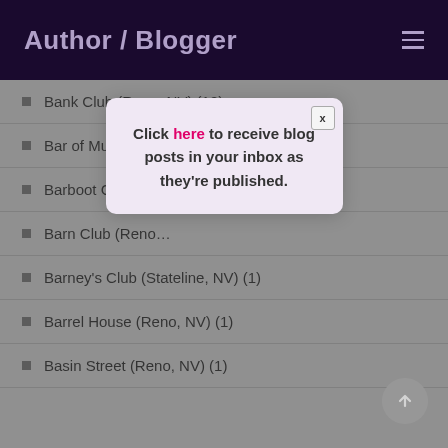Author / Blogger
Bank Club (Reno, NV) (12)
Bar of Music (Re…
Barboot Coffee … (o, NV) (1)
Barn Club (Reno…
[Figure (screenshot): Modal popup with text: Click here to receive blog posts in your inbox as they're published. Has an X close button in top right corner.]
Barney's Club (Stateline, NV) (1)
Barrel House (Reno, NV) (1)
Basin Street (Reno, NV) (1)